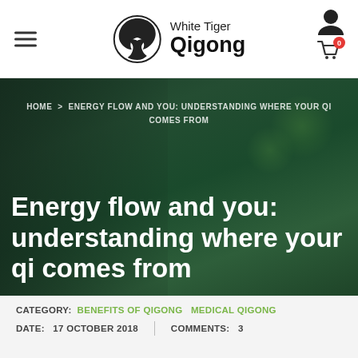White Tiger Qigong — navigation header with logo, hamburger menu, user icon, and cart (0)
[Figure (photo): Hero image: person in white clothing with hands cupped, overlaid with dark green bokeh background. Breadcrumb navigation and large white title text overlaid.]
HOME > ENERGY FLOW AND YOU: UNDERSTANDING WHERE YOUR QI COMES FROM
Energy flow and you: understanding where your qi comes from
CATEGORY: BENEFITS OF QIGONG MEDICAL QIGONG
DATE: 17 OCTOBER 2018    COMMENTS: 3